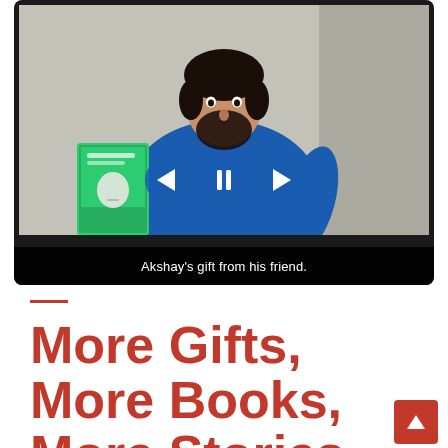[Figure (screenshot): A photo of a man in a blue shirt holding a green book, shown inside a dark device/video player frame with playback controls (back, pause, forward) and a caption bar reading 'Akshay's gift from his friend.']
Akshay's gift from his friend.
More Gifts, More Books, More Stories